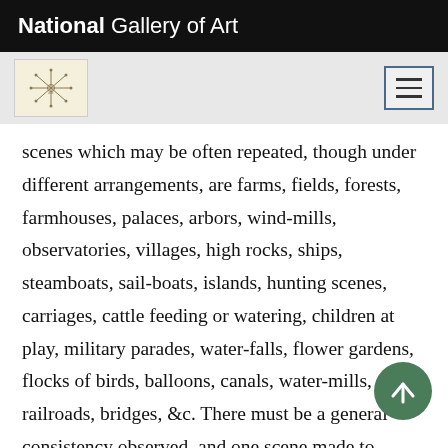National Gallery of Art
[Figure (logo): National Gallery of Art decorative logo/emblem with snowflake-like design and navigation hamburger button]
scenes which may be often repeated, though under different arrangements, are farms, fields, forests, farmhouses, palaces, arbors, wind-mills, observatories, villages, high rocks, ships, steamboats, sail-boats, islands, hunting scenes, carriages, cattle feeding or watering, children at play, military parades, water-falls, flower gardens, flocks of birds, balloons, canals, water-mills, railroads, bridges, &c. There must be a general consistency observed, and one scene made to connect with another, even although the different scenes should represent different seasons of the year. . . . The le for the purpose of acquiring the art of designing, sh for the purpose of acquiring the art of designing, sh